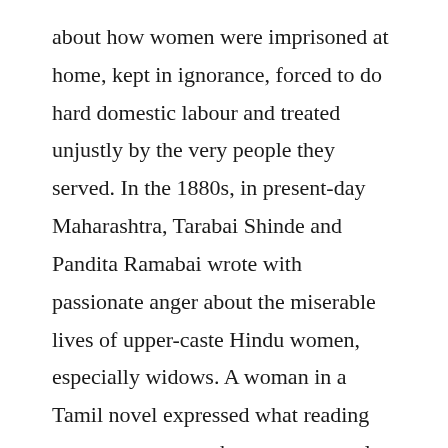about how women were imprisoned at home, kept in ignorance, forced to do hard domestic labour and treated unjustly by the very people they served. In the 1880s, in present-day Maharashtra, Tarabai Shinde and Pandita Ramabai wrote with passionate anger about the miserable lives of upper-caste Hindu women, especially widows. A woman in a Tamil novel expressed what reading meant to women who were so greatly novel confined by social regulations : â€˜For various reasons, my world is small … More than half my life's happiness has come from books.
(iii) While Urdu, Tamil, Bengali and Marathi print culture had developed early, Hindi printing began seriously only from the 1870s. Soon, a large segment of it was devoted to the education of